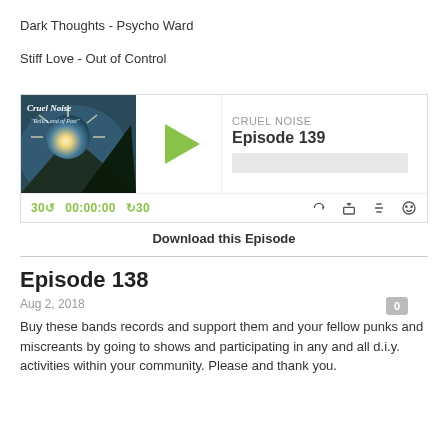Dark Thoughts - Psycho Ward
Stiff Love - Out of Control
[Figure (screenshot): Podcast player widget for Cruel Noise Episode 139 with album art, play button, progress bar, and controls showing 00:00:00]
Download this Episode
Episode 138
Aug 2, 2018
Buy these bands records and support them and your fellow punks and miscreants by going to shows and participating in any and all d.i.y. activities within your community. Please and thank you.